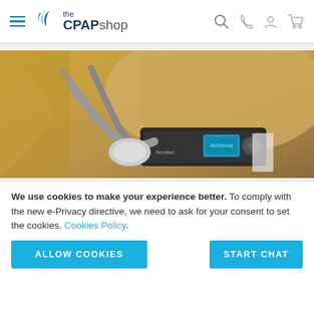[Figure (logo): The CPAP Shop logo with blue wave icon and navigation icons (hamburger menu, search, phone, account, cart)]
[Figure (photo): CPAP machine and mask on a bed with golden/yellow bedding background]
We use cookies to make your experience better. To comply with the new e-Privacy directive, we need to ask for your consent to set the cookies. Cookies Policy.
ALLOW COOKIES
START CHAT